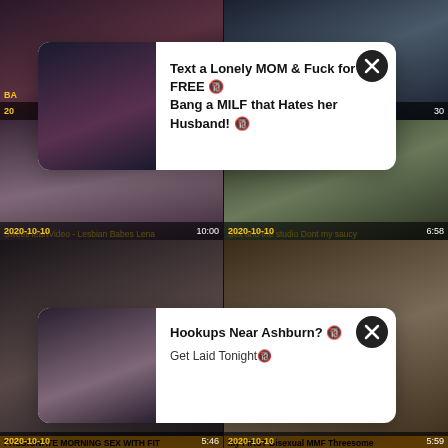[Figure (screenshot): Video thumbnail grid showing adult video website with popup ads. Top row: two video thumbnails. Middle row: two video thumbnails with date 2020-10-10 and durations 10:00 and 6:58. Bottom row: two video thumbnails with date 2020-10-10 and durations 5:46 and 5:59. Two popup overlays visible.]
Text a Lonely MOM & Fuck for FREE
Bang a MILF that Hates her Husband!
Hookups Near Ashburn?
Get Laid Tonight
SweetHeartVideo - Lesbian Babes Lena
Sex and the studio Dont my saucy
PASSIONATE MORNING SEX WITH FIT
My FIRST Bisexual MMF Threesome